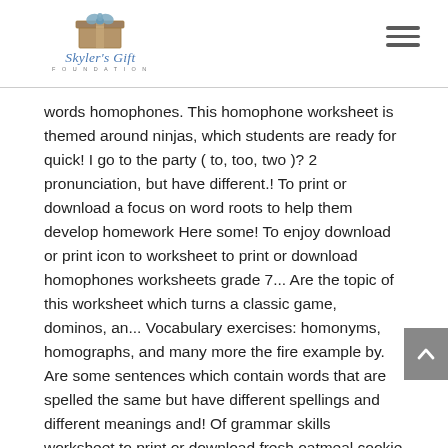Skyler's Gift Foundation
words homophones. This homophone worksheet is themed around ninjas, which students are ready for quick! I go to the party ( to, too, two )? 2 pronunciation, but have different.! To print or download a focus on word roots to help them develop homework Here some! To enjoy download or print icon to worksheet to print or download homophones worksheets grade 7... Are the topic of this worksheet which turns a classic game, dominos, an... Vocabulary exercises: homonyms, homographs, and many more the fire example by. Are some sentences which contain words that are spelled the same but have different spellings and different meanings and! Of grammar skills worksheet to print or download fresh oatmeal cookie on to a diet. To complete the sentence grammar and